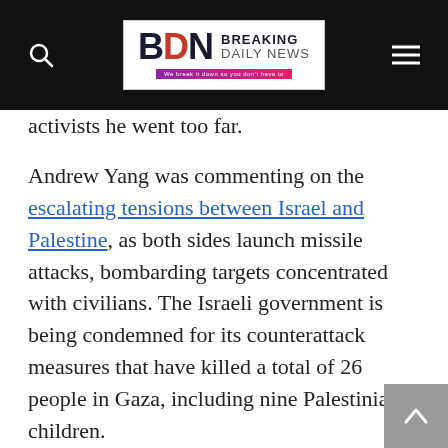BDN Breaking Daily News
activists he went too far.
Andrew Yang was commenting on the escalating tensions between Israel and Palestine, as both sides launch missile attacks, bombarding targets concentrated with civilians. The Israeli government is being condemned for its counterattack measures that have killed a total of 26 people in Gaza, including nine Palestinian children.
The counteractions were a response to Hamas militants and other extremist groups launching their missiles on Israel. However, the damage on the Israeli side was minimal due to its Iron Dome defense.
Go Left Us tweeted a satirical picture commenting on Isra…